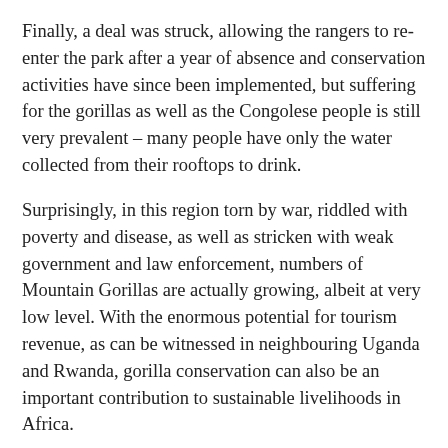Finally, a deal was struck, allowing the rangers to re-enter the park after a year of absence and conservation activities have since been implemented, but suffering for the gorillas as well as the Congolese people is still very prevalent – many people have only the water collected from their rooftops to drink.
Surprisingly, in this region torn by war, riddled with poverty and disease, as well as stricken with weak government and law enforcement, numbers of Mountain Gorillas are actually growing, albeit at very low level. With the enormous potential for tourism revenue, as can be witnessed in neighbouring Uganda and Rwanda, gorilla conservation can also be an important contribution to sustainable livelihoods in Africa.
The Congolese Wildlife Authority (ICCN) and its rangers work throughout the country to protect the national parks of Congo and their wildlife from poachers, rebel